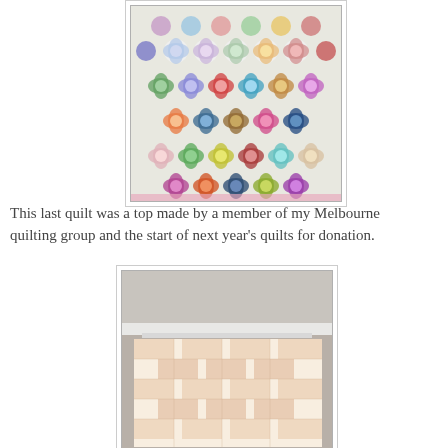[Figure (photo): A colorful patchwork quilt with flower/medallion pattern blocks in many colors on white background, displayed hanging or laid flat.]
This last quilt was a top made by a member of my Melbourne quilting group and the start of next year’s quilts for donation.
[Figure (photo): A light peach/orange and white patchwork quilt with geometric block pattern, hanging on a wall near a ceiling corner.]